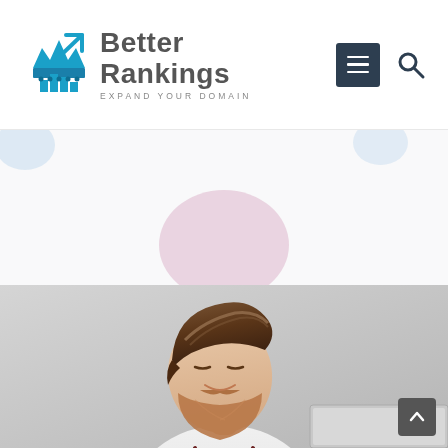[Figure (logo): Better Rankings logo with crown/chart icon in teal/blue, text 'Better Rankings' in dark gray, tagline 'EXPAND YOUR DOMAIN' below]
[Figure (screenshot): Hamburger menu button (dark navy square with 3 white lines) and search icon (magnifying glass) in top-right navigation area]
[Figure (photo): Photo of a young bearded man with styled hair, smiling, looking down at a screen, wearing white shirt and suspenders, against a light gray background. Pink/mauve decorative circle shape visible behind/above him.]